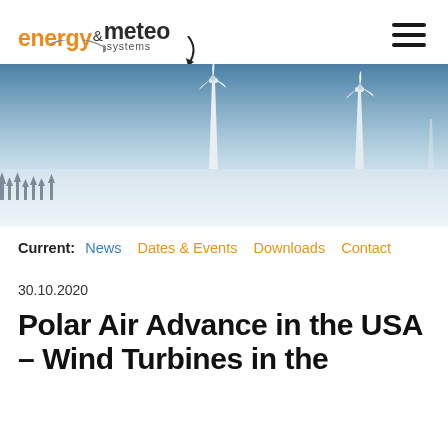[Figure (logo): energy & meteo systems logo with orange 'energy' text and dark 'meteo' text, with 'systems' below and a decorative arc]
[Figure (photo): Wide panoramic photo of wind turbines in a snowy, foggy winter landscape with blue-grey sky]
Current:  News  Dates & Events  Downloads  Contact
30.10.2020
Polar Air Advance in the USA – Wind Turbines in the